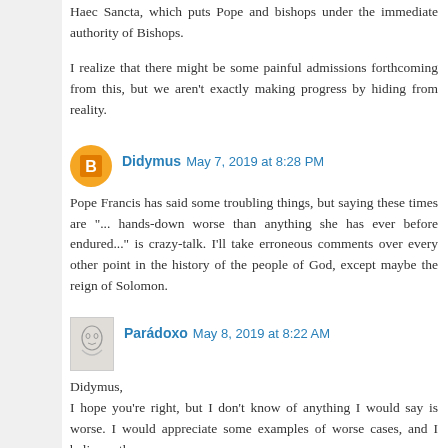Haec Sancta, which puts Pope and bishops under the immediate authority of Bishops.
I realize that there might be some painful admissions forthcoming from this, but we aren't exactly making progress by hiding from reality.
Didymus  May 7, 2019 at 8:28 PM
Pope Francis has said some troubling things, but saying these times are "... hands-down worse than anything she has ever before endured..." is crazy-talk. I'll take erroneous comments over every other point in the history of the people of God, except maybe the reign of Solomon.
Parádoxo  May 8, 2019 at 8:22 AM
Didymus,
I hope you're right, but I don't know of anything I would say is worse. I would appreciate some examples of worse cases, and I believe others